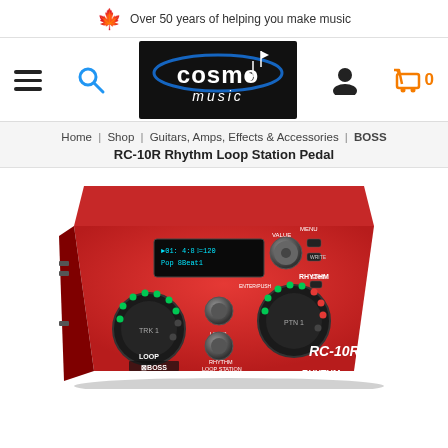Over 50 years of helping you make music
[Figure (logo): Cosmo Music logo - black background with white bold text 'cosmo' and italic 'music', blue swoosh graphic, with hamburger menu icon, search icon, user icon, and orange cart icon with '0']
Home | Shop | Guitars, Amps, Effects & Accessories | BOSS RC-10R Rhythm Loop Station Pedal
[Figure (photo): BOSS RC-10R Rhythm Loop Station Pedal - red guitar effects pedal with LCD display showing '01: Pop  4:8  J=120  8Beat1', two large knobs with green LED rings (LOOP and RHYTHM), VALUE/MENU controls, LEVEL knob, BOSS logo, text 'RHYTHM LOOP STATION RC-10R']